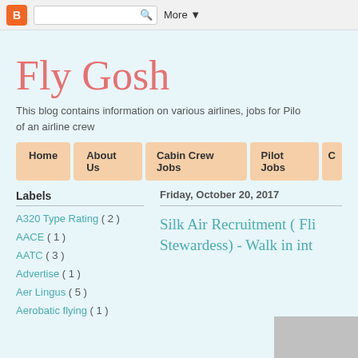Blogger | Search | More
Fly Gosh
This blog contains information on various airlines, jobs for Pilots, Cabin Crew and the life of an airline crew
Home
About Us
Cabin Crew Jobs
Pilot Jobs
Labels
A320 Type Rating ( 2 )
AACE ( 1 )
AATC ( 3 )
Advertise ( 1 )
Aer Lingus ( 5 )
Aerobatic flying ( 1 )
Friday, October 20, 2017
Silk Air Recruitment ( Flight Stewardess) - Walk in interview